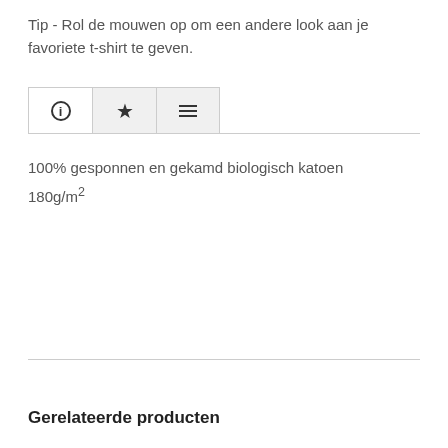Tip - Rol de mouwen op om een andere look aan je favoriete t-shirt te geven.
[Figure (other): Tab bar with three tabs: info icon (active), star icon, and lines/menu icon]
100% gesponnen en gekamd biologisch katoen
180g/m²
Gerelateerde producten